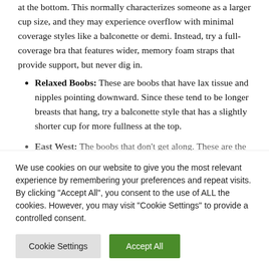at the bottom. This normally characterizes someone as a larger cup size, and they may experience overflow with minimal coverage styles like a balconette or demi. Instead, try a full-coverage bra that features wider, memory foam straps that provide support, but never dig in.
Relaxed Boobs: These are boobs that have lax tissue and nipples pointing downward. Since these tend to be longer breasts that hang, try a balconette style that has a slightly shorter cup for more fullness at the top.
East West: The boobs that don't get along. These are the
We use cookies on our website to give you the most relevant experience by remembering your preferences and repeat visits. By clicking "Accept All", you consent to the use of ALL the cookies. However, you may visit "Cookie Settings" to provide a controlled consent.